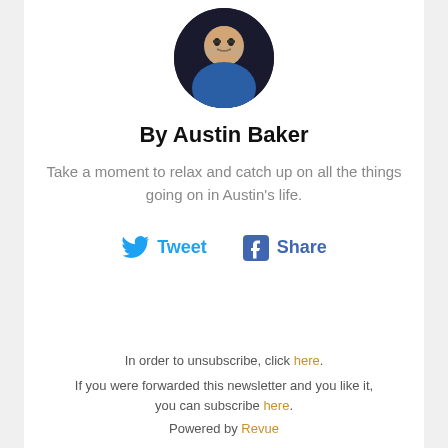[Figure (photo): Circular profile photo of Austin Baker, a man wearing glasses and a blue t-shirt, smiling, against a dark background.]
By Austin Baker
Take a moment to relax and catch up on all the things going on in Austin's life.
[Figure (infographic): Tweet and Share buttons with Twitter bird icon and Facebook 'f' icon]
In order to unsubscribe, click here.
If you were forwarded this newsletter and you like it, you can subscribe here.
Powered by Revue